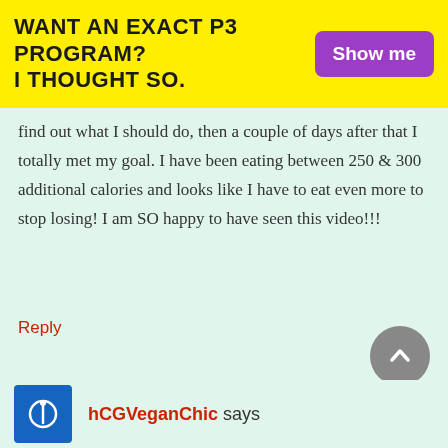WANT AN EXACT P3 PROGRAM? I THOUGHT SO. | Show me
find out what I should do, then a couple of days after that I totally met my goal. I have been eating between 250 & 300 additional calories and looks like I have to eat even more to stop losing! I am SO happy to have seen this video!!!
Reply
[Figure (illustration): Gray circular scroll-to-top button with upward chevron arrow]
hCGVeganChic says